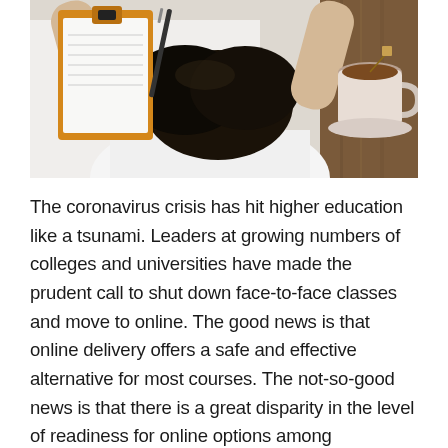[Figure (photo): Overhead view of a person with dark hair resting their head on a white desk, with a clipboard and pen on the left, and a cup of tea/coffee on a wooden surface on the right.]
The coronavirus crisis has hit higher education like a tsunami. Leaders at growing numbers of colleges and universities have made the prudent call to shut down face-to-face classes and move to online. The good news is that online delivery offers a safe and effective alternative for most courses. The not-so-good news is that there is a great disparity in the level of readiness for online options among educational institutions. While a small number are prepared, for many online is a foreign and intimidating terrain. This crisis can provide a catalyst for educational institutions to create Plan O – an online learning strategy that will serve to address not only future crises, but also long-predicted rising demand for online learning,